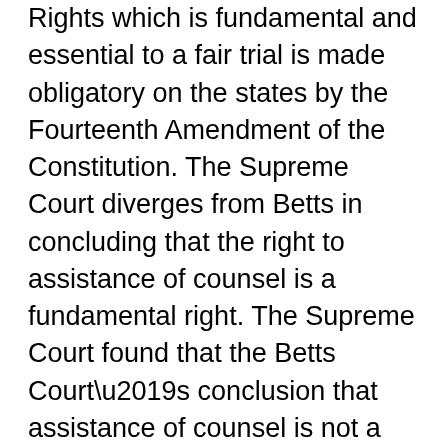Rights which is fundamental and essential to a fair trial is made obligatory on the states by the Fourteenth Amendment of the Constitution. The Supreme Court diverges from Betts in concluding that the right to assistance of counsel is a fundamental right. The Supreme Court found that the Betts Court’s conclusion that assistance of counsel is not a fundamental right was an abrupt break from its own well-considered precedent. The Supreme Court further reasons that the right to be heard at trial would be, in many cases, of little avail without the assistance of counsel who is familiar with the rules of court, the rules of evidence and the general procedure of the court system. Without the assistance of counsel “though he be not guilty, he faces the danger of conviction because he does